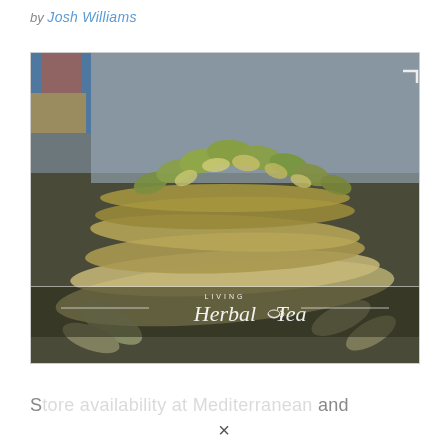by Josh Williams
[Figure (photo): Close-up photo of dried herbal plant stalks with green and yellow dried leaves and buds, resting on a textured stone or fabric surface. A logo overlay reads 'LIVING Herbal Tea' in white text at the bottom center of the image.]
S...Mediterranean...